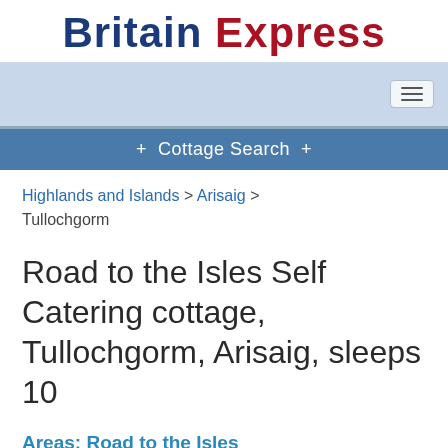Britain Express
[Figure (screenshot): Navigation bar with light blue background and hamburger menu button on the right]
+ Cottage Search +
Highlands and Islands > Arisaig > Tullochgorm
Road to the Isles Self Catering cottage, Tullochgorm, Arisaig, sleeps 10
Areas: Road to the Isles
Tullochgorm